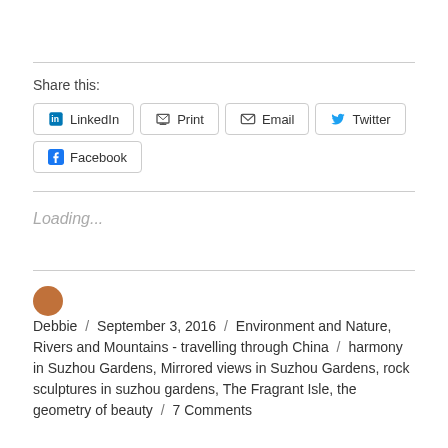Share this:
LinkedIn
Print
Email
Twitter
Facebook
Loading...
Debbie / September 3, 2016 / Environment and Nature, Rivers and Mountains - travelling through China / harmony in Suzhou Gardens, Mirrored views in Suzhou Gardens, rock sculptures in suzhou gardens, The Fragrant Isle, the geometry of beauty / 7 Comments